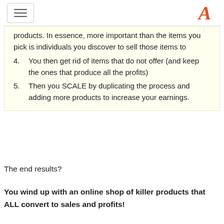≡  [logo A]
products. In essence, more important than the items you pick is individuals you discover to sell those items to
4. You then get rid of items that do not offer (and keep the ones that produce all the profits)
5. Then you SCALE by duplicating the process and adding more products to increase your earnings.
The end results?
You wind up with an online shop of killer products that ALL convert to sales and profits!